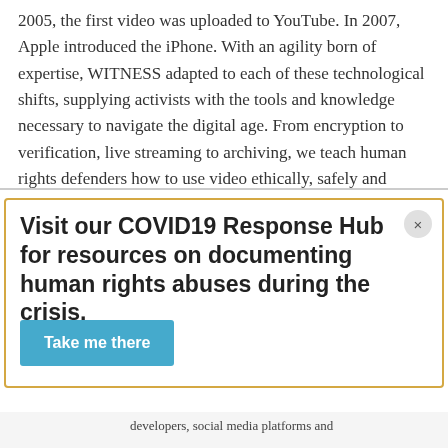2005, the first video was uploaded to YouTube. In 2007, Apple introduced the iPhone. With an agility born of expertise, WITNESS adapted to each of these technological shifts, supplying activists with the tools and knowledge necessary to navigate the digital age. From encryption to verification, live streaming to archiving, we teach human rights defenders how to use video ethically, safely and effectively.
Visit our COVID19 Response Hub for resources on documenting human rights abuses during the crisis.
Take me there
developers, social media platforms and